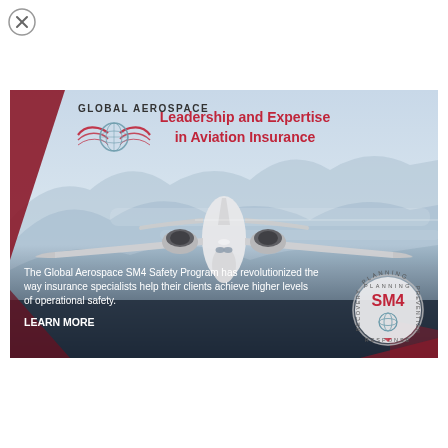[Figure (logo): Close button X circle top-left]
[Figure (illustration): Global Aerospace aviation insurance advertisement. Shows a business jet flying over misty mountains with sky background. Contains Global Aerospace logo (globe with wings graphic), headline text in red 'Leadership and Expertise in Aviation Insurance', body text about SM4 Safety Program, LEARN MORE link, and SM4 badge/seal with globe and text PLANNING, PREVENTION, RESPONSE, RECOVERY.]
Leadership and Expertise in Aviation Insurance
The Global Aerospace SM4 Safety Program has revolutionized the way insurance specialists help their clients achieve higher levels of operational safety.
LEARN MORE